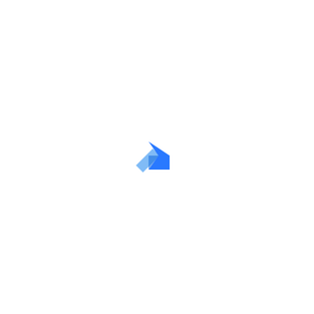[Figure (logo): A blue angular logo resembling a stylized right-pointing chevron or play-button arrow shape, composed of two overlapping quadrilateral pieces in shades of blue (a brighter blue on top/right and a lighter blue on the left/bottom), centered on a white background.]